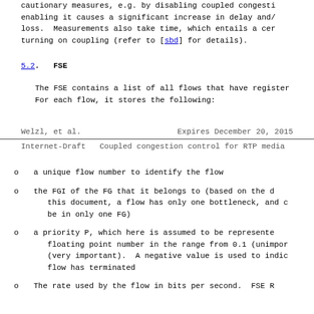cautionary measures, e.g. by disabling coupled congesti on enabling it causes a significant increase in delay and/ loss.  Measurements also take time, which entails a cer turning on coupling (refer to [sbd] for details).
5.2.  FSE
The FSE contains a list of all flows that have register For each flow, it stores the following:
Welzl, et al.          Expires December 20, 2015
Internet-Draft   Coupled congestion control for RTP media
a unique flow number to identify the flow
the FGI of the FG that it belongs to (based on the d this document, a flow has only one bottleneck, and c be in only one FG)
a priority P, which here is assumed to be represente floating point number in the range from 0.1 (unimpor (very important).  A negative value is used to indic flow has terminated
The rate used by the flow in bits per second.  FSE R